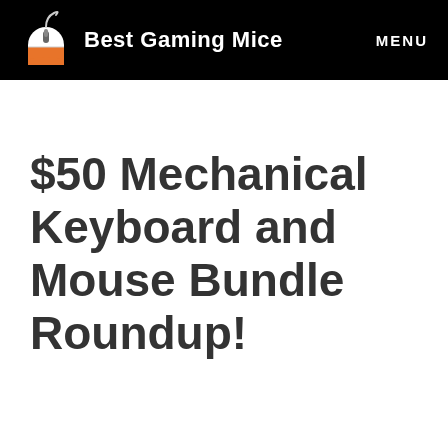Best Gaming Mice | MENU
$50 Mechanical Keyboard and Mouse Bundle Roundup!